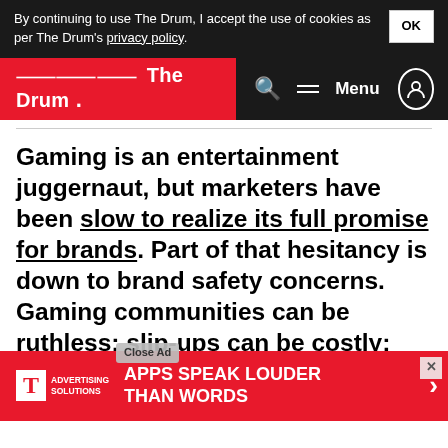By continuing to use The Drum, I accept the use of cookies as per The Drum's privacy policy. OK
The Drum — Search Menu
Gaming is an entertainment juggernaut, but marketers have been slow to realize its full promise for brands. Part of that hesitancy is down to brand safety concerns. Gaming communities can be ruthless; slip-ups can be costly; and on gaming platforms, ads can be served er- ger-
[Figure (screenshot): T-Mobile Advertising Solutions ad banner: 'APPS SPEAK LOUDER THAN WORDS' with close ad button overlay]